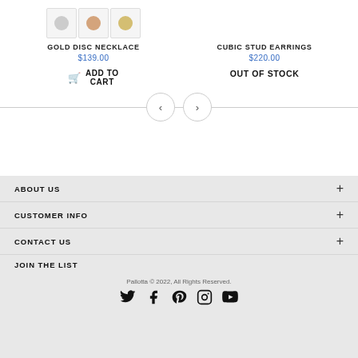[Figure (photo): Product image thumbnails for Gold Disc Necklace showing silver, rose gold, and gold variants]
GOLD DISC NECKLACE
$139.00
ADD TO CART
CUBIC STUD EARRINGS
$220.00
OUT OF STOCK
ABOUT US
CUSTOMER INFO
CONTACT US
JOIN THE LIST
Pallotta © 2022, All Rights Reserved.
[Figure (other): Social media icons: Twitter, Facebook, Pinterest, Instagram, YouTube]